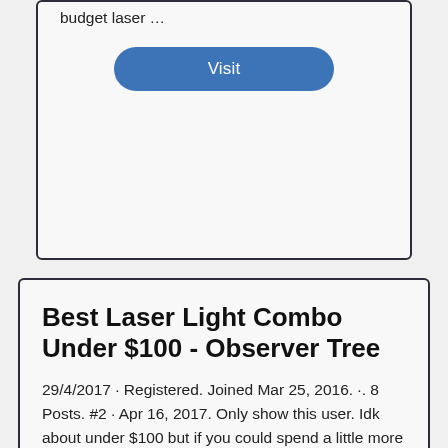budget laser …
Visit
Best Laser Light Combo Under $100 - Observer Tree
29/4/2017  · Registered. Joined Mar 25, 2016. ·. 8 Posts. #2 · Apr 16, 2017. Only show this user. Idk about under $100 but if you could spend a little more Ive found some lasermax spartan …
Visit